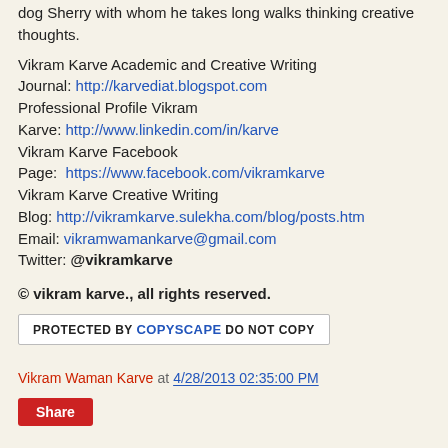dog Sherry with whom he takes long walks thinking creative thoughts.
Vikram Karve Academic and Creative Writing Journal: http://karvediat.blogspot.com
Professional Profile Vikram Karve: http://www.linkedin.com/in/karve
Vikram Karve Facebook Page:  https://www.facebook.com/vikramkarve
Vikram Karve Creative Writing Blog: http://vikramkarve.sulekha.com/blog/posts.htm
Email: vikramwamankarve@gmail.com
Twitter: @vikramkarve
© vikram karve., all rights reserved.
[Figure (other): Copyscape badge: PROTECTED BY COPYSCAPE DO NOT COPY]
Vikram Waman Karve at 4/28/2013 02:35:00 PM
Share